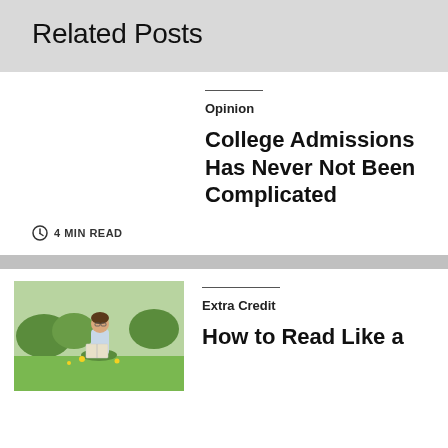Related Posts
Opinion
College Admissions Has Never Not Been Complicated
4 MIN READ
Extra Credit
How to Read Like a